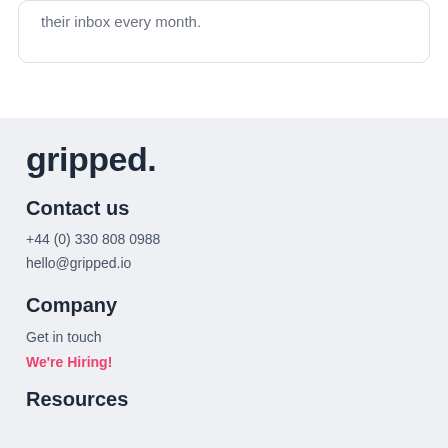their inbox every month.
gripped.
Contact us
+44 (0) 330 808 0988
hello@gripped.io
Company
Get in touch
We're Hiring!
Resources